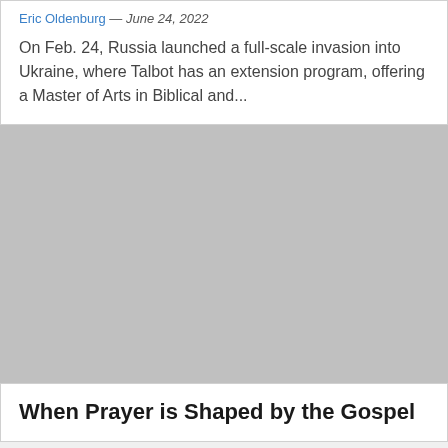Eric Oldenburg — June 24, 2022
On Feb. 24, Russia launched a full-scale invasion into Ukraine, where Talbot has an extension program, offering a Master of Arts in Biblical and...
[Figure (photo): Gray placeholder image for an article about prayer and the Gospel]
When Prayer is Shaped by the Gospel